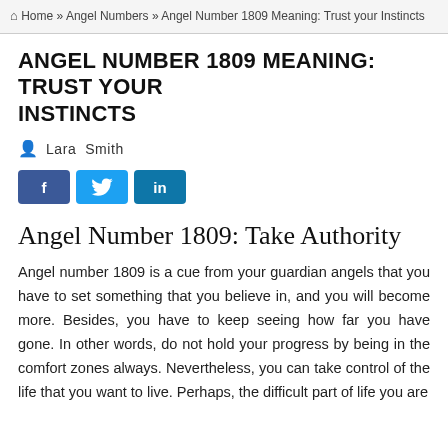🏠 Home » Angel Numbers » Angel Number 1809 Meaning: Trust your Instincts
ANGEL NUMBER 1809 MEANING: TRUST YOUR INSTINCTS
Lara Smith
[Figure (infographic): Social share buttons: Facebook (f), Twitter (bird icon), LinkedIn (in)]
Angel Number 1809: Take Authority
Angel number 1809 is a cue from your guardian angels that you have to set something that you believe in, and you will become more. Besides, you have to keep seeing how far you have gone. In other words, do not hold your progress by being in the comfort zones always. Nevertheless, you can take control of the life that you want to live. Perhaps, the difficult part of life you are